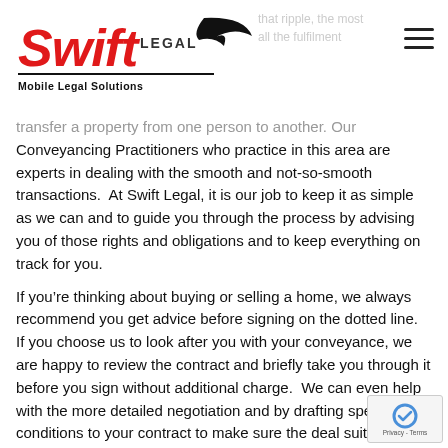Swift Legal Mobile Legal Solutions
transfer a property from one person to another. Our Conveyancing Practitioners who practice in this area are experts in dealing with the smooth and not-so-smooth transactions.  At Swift Legal, it is our job to keep it as simple as we can and to guide you through the process by advising you of those rights and obligations and to keep everything on track for you.
If you’re thinking about buying or selling a home, we always recommend you get advice before signing on the dotted line.  If you choose us to look after you with your conveyance, we are happy to review the contract and briefly take you through it before you sign without additional charge.  We can even help with the more detailed negotiation and by drafting special conditions to your contract to make sure the deal suits you and your situation.